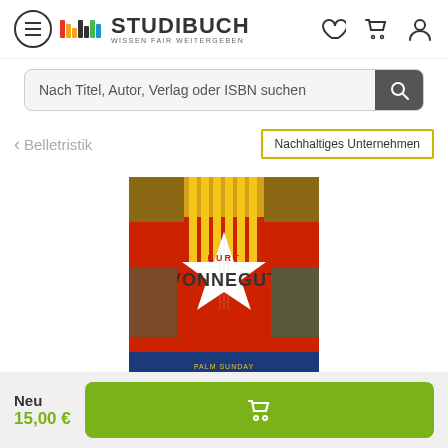[Figure (logo): Studibuch logo with colored bars and tagline WISSEN FAIR WEITERGEBEN]
Nach Titel, Autor, Verlag oder ISBN suchen
< Belletristik
Nachhaltiges Unternehmen
[Figure (photo): Book cover: Kurt Vonnegut - Palm Sunday / Welcome to the Monkey House, colorful cover with large white star]
Neu
15,00 €